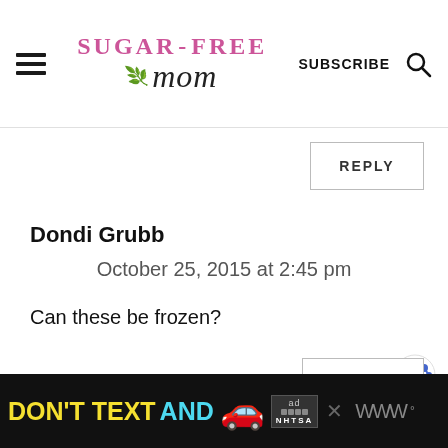Sugar-Free Mom — SUBSCRIBE
Dondi Grubb
October 25, 2015 at 2:45 pm
Can these be frozen?
[Figure (screenshot): REPLY button]
[Figure (screenshot): Ad banner: DON'T TEXT AND [car emoji] with NHTSA badge]